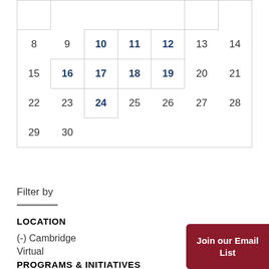| Sun | Mon | Tue | Wed | Thu | Fri | Sat |
| --- | --- | --- | --- | --- | --- | --- |
|  |  |  |  |  |  |  |
| 8 | 9 | 10 | 11 | 12 | 13 | 14 |
| 15 | 16 | 17 | 18 | 19 | 20 | 21 |
| 22 | 23 | 24 | 25 | 26 | 27 | 28 |
| 29 | 30 |  |  |  |  |  |
Filter by
LOCATION
(-) Cambridge
Virtual
PROGRAMS & INITIATIVES
Art, Film, & Culture
(-) Cuba Studies
Join our Email List